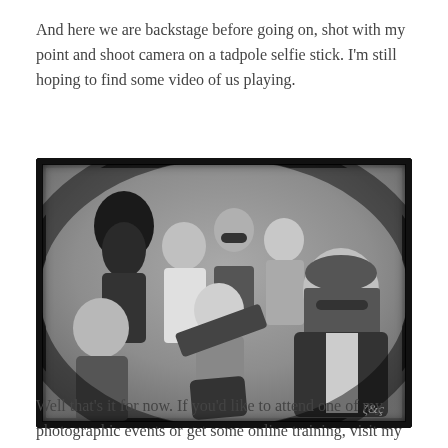And here we are backstage before going on, shot with my point and shoot camera on a tadpole selfie stick. I'm still hoping to find some video of us playing.
[Figure (photo): Black and white group photo of approximately 7 people backstage, some holding guitars/instruments, posing together in a fun selfie-style shot. A handwritten signature appears in the bottom right corner.]
Well that's it for now. If you'd like to attend one of my photographic events or get some online training, visit my